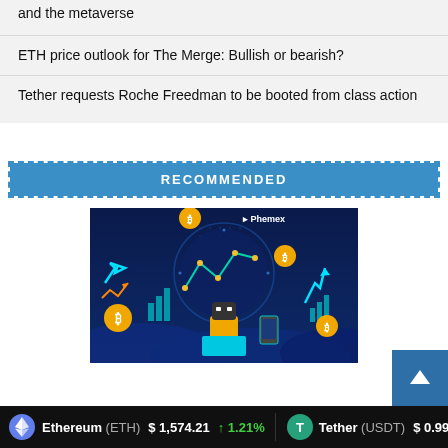and the metaverse
ETH price outlook for The Merge: Bullish or bearish?
Tether requests Roche Freedman to be booted from class action
RECOMMENDED
[Figure (illustration): Phemex promotional illustration showing a robot/trader figure with cryptocurrency coins, charts, arrows, and a clock on a dark blue background with Phemex branding]
Ethereum (ETH) $1,574.21 ↑1.21%   Tether (USDT) $0.9998